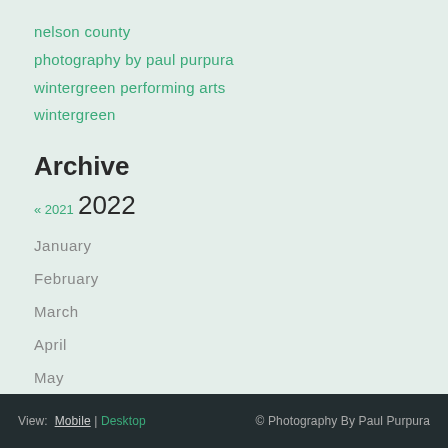nelson county
photography by paul purpura
wintergreen performing arts
wintergreen
Archive
« 2021 2022
January
February
March
April
May
June
July
August
View: Mobile | Desktop   © Photography By Paul Purpura